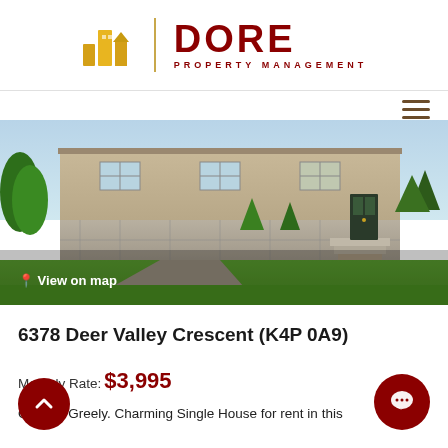[Figure (logo): Dore Property Management logo — yellow building silhouette icons, vertical gold divider, dark red DORE text with PROPERTY MANAGEMENT subtitle]
[Figure (photo): Exterior photo of a single-family home with stone facade, green lawn, and landscaped front yard. Overlay shows 'View on map' with location pin icon.]
6378 Deer Valley Crescent (K4P 0A9)
Monthly Rate: $3,995
Ottawa, Greely. Charming Single House for rent in this